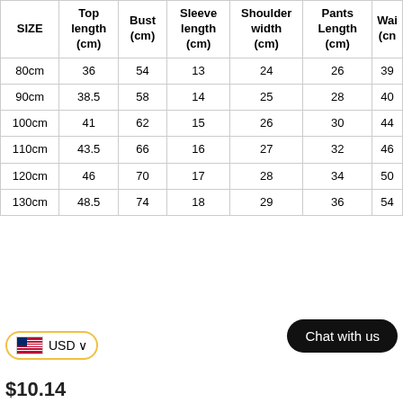| SIZE | Top length (cm) | Bust (cm) | Sleeve length (cm) | Shoulder width (cm) | Pants Length (cm) | Wai (cn |
| --- | --- | --- | --- | --- | --- | --- |
| 80cm | 36 | 54 | 13 | 24 | 26 | 39 |
| 90cm | 38.5 | 58 | 14 | 25 | 28 | 40 |
| 100cm | 41 | 62 | 15 | 26 | 30 | 44 |
| 110cm | 43.5 | 66 | 16 | 27 | 32 | 46 |
| 120cm | 46 | 70 | 17 | 28 | 34 | 50 |
| 130cm | 48.5 | 74 | 18 | 29 | 36 | 54 |
Chat with us
USD
$10.14